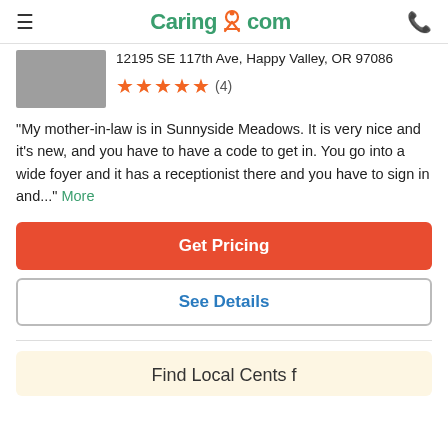Caring.com
12195 SE 117th Ave, Happy Valley, OR 97086
★★★★★ (4)
"My mother-in-law is in Sunnyside Meadows. It is very nice and it's new, and you have to have a code to get in. You go into a wide foyer and it has a receptionist there and you have to sign in and..." More
Get Pricing
See Details